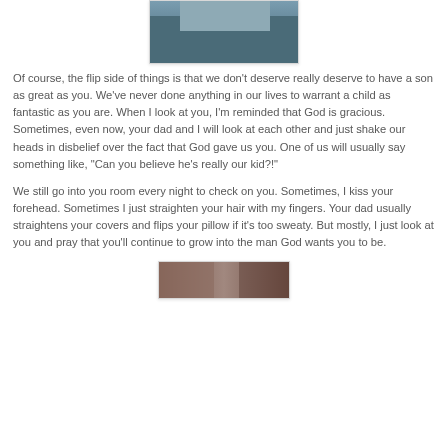[Figure (photo): Cropped photo of a person in a blue shirt holding something, wearing a watch and ring, partial view]
Of course, the flip side of things is that we don't deserve really deserve to have a son as great as you. We've never done anything in our lives to warrant a child as fantastic as you are. When I look at you, I'm reminded that God is gracious. Sometimes, even now, your dad and I will look at each other and just shake our heads in disbelief over the fact that God gave us you. One of us will usually say something like, "Can you believe he's really our kid?!"
We still go into you room every night to check on you. Sometimes, I kiss your forehead. Sometimes I just straighten your hair with my fingers. Your dad usually straightens your covers and flips your pillow if it's too sweaty. But mostly, I just look at you and pray that you'll continue to grow into the man God wants you to be.
[Figure (photo): Partial view of another photo at the bottom of the page]